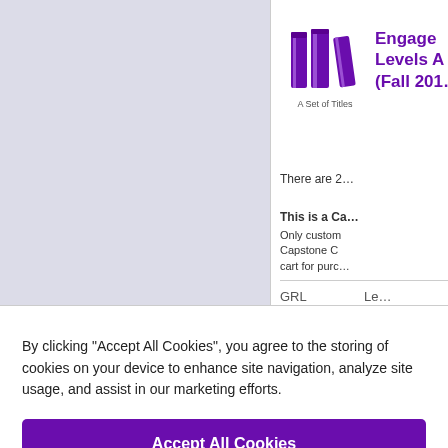[Figure (illustration): Purple books icon labeled 'A Set of Titles' on a light lavender/gray background on the left side panel]
Engage Levels A (Fall 201
There are 2
This is a Ca Only custom Capstone C cart for purc
| GRL | Le |
| --- | --- |
By clicking “Accept All Cookies”, you agree to the storing of cookies on your device to enhance site navigation, analyze site usage, and assist in our marketing efforts.
Accept All Cookies
Cookies Settings